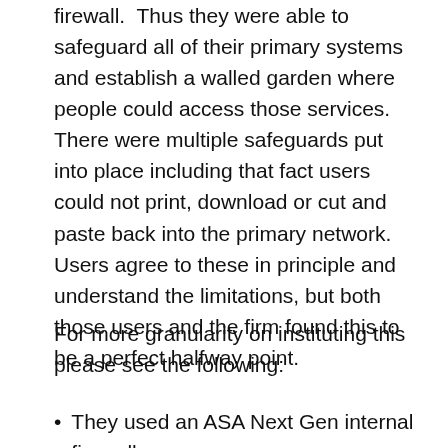firewall.  Thus they were able to safeguard all of their primary systems and establish a walled garden where people could access those services.  There were multiple safeguards put into place including that fact users could not print, download or cut and paste back into the primary network.  Users agree to these in principle and understand the limitations, but both those users and the firm found this to be a perfect halfway point.
For more granularity on instituting this please see the following:
They used an ASA Next Gen internal firewall